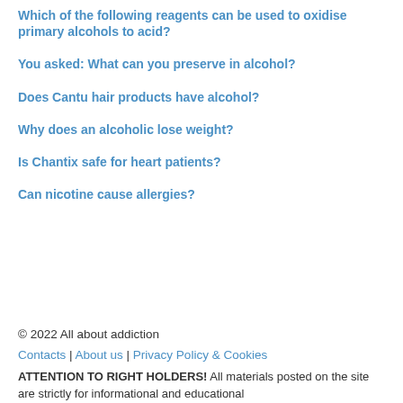Which of the following reagents can be used to oxidise primary alcohols to acid?
You asked: What can you preserve in alcohol?
Does Cantu hair products have alcohol?
Why does an alcoholic lose weight?
Is Chantix safe for heart patients?
Can nicotine cause allergies?
© 2022 All about addiction
Contacts | About us | Privacy Policy & Cookies
ATTENTION TO RIGHT HOLDERS! All materials posted on the site are strictly for informational and educational